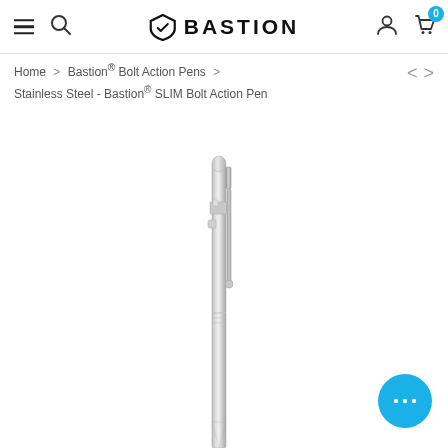Bastion — navigation header with hamburger menu, search, Bastion logo, user icon, and cart (0)
Home > Bastion® Bolt Action Pens > Stainless Steel - Bastion® SLIM Bolt Action Pen
[Figure (photo): Close-up product photo of a stainless steel Bastion SLIM Bolt Action Pen shown vertically against a white background, displaying the clip and bolt mechanism detail.]
[Figure (other): Blue circular chat/support button with ellipsis icon in bottom-right corner]